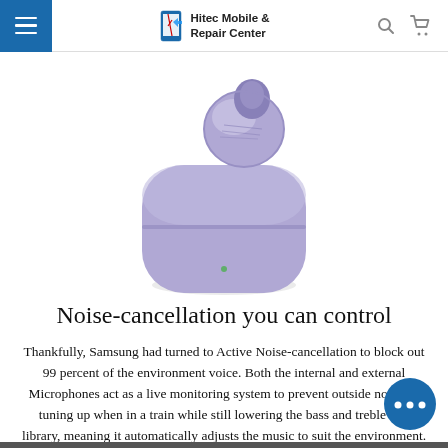Hitec Mobile & Repair Center
[Figure (photo): Purple/violet Samsung Galaxy Buds Pro wireless earbud with charging case, shown with one earbud partially out of the case]
Noise-cancellation you can control
Thankfully, Samsung had turned to Active Noise-cancellation to block out 99 percent of the environment voice. Both the internal and external Microphones act as a live monitoring system to prevent outside noise by tuning up when in a train while still lowering the bass and treble in a library, meaning it automatically adjusts the music to suit the environment.